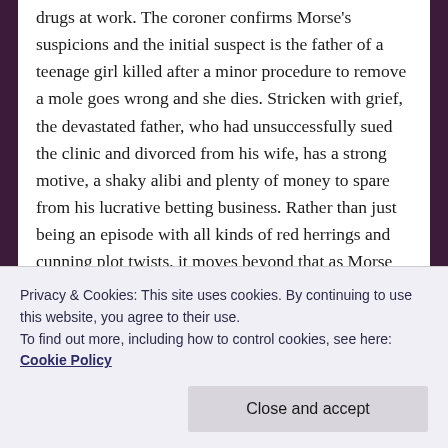drugs at work. The coroner confirms Morse's suspicions and the initial suspect is the father of a teenage girl killed after a minor procedure to remove a mole goes wrong and she dies. Stricken with grief, the devastated father, who had unsuccessfully sued the clinic and divorced from his wife, has a strong motive, a shaky alibi and plenty of money to spare from his lucrative betting business. Rather than just being an episode with all kinds of red herrings and cunning plot twists, it moves beyond that as Morse befriends the millionaire suspect and is desperate to find evidence that proves he wasn't the killer. Perceptive, thought-provoking and ultimately, incredibly moving, it sums up what the show was always about.
Privacy & Cookies: This site uses cookies. By continuing to use this website, you agree to their use.
To find out more, including how to control cookies, see here: Cookie Policy